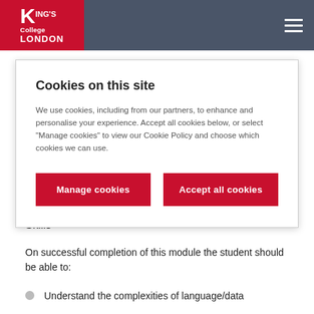[Figure (logo): King's College London logo on red background in top navigation bar]
Learning outcomes
Subject specific: Knowledge, Understanding and Skills
On successful completion of this module the student should be able to:
Understand the complexities of language/data
Cookies on this site
We use cookies, including from our partners, to enhance and personalise your experience. Accept all cookies below, or select “Manage cookies” to view our Cookie Policy and choose which cookies we can use.